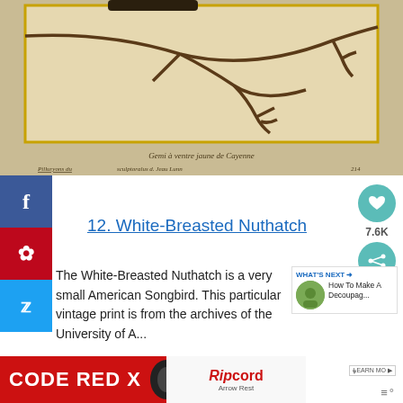[Figure (illustration): Vintage botanical/natural history illustration showing a tree branch on aged parchment-colored paper, with a yellow border frame. Below the frame appears handwritten cursive text reading 'Gemi à ventre jaune de Cayenne' and at the bottom left 'Pillargons des' and in the middle cursive script for engraver credit.]
Gemi à ventre jaune de Cayenne
12. White-Breasted Nuthatch
The White-Breasted Nuthatch is a very small American Songbird. This particular vintage print is from the archives of the University of A...
[Figure (screenshot): What's Next box with thumbnail and text 'How To Make A Decoupag...']
[Figure (infographic): Advertisement banner showing CODE RED X on red background and Ripcord Arrow Rest brand logo]